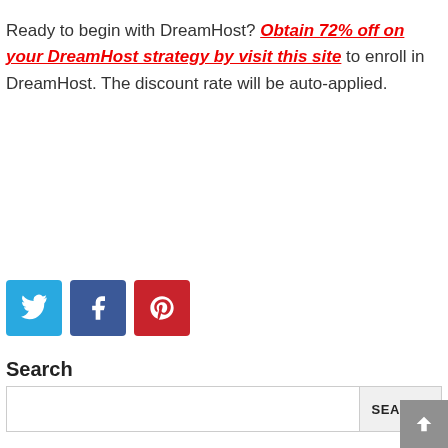Ready to begin with DreamHost? Obtain 72% off on your DreamHost strategy by visit this site to enroll in DreamHost. The discount rate will be auto-applied.
[Figure (other): Social media share buttons: Twitter (blue), Facebook (dark blue), Pinterest (red)]
Search
[Figure (other): Search input box with SEARCH button]